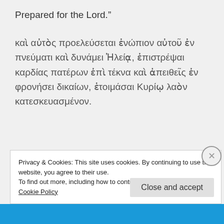Prepared for the Lord.”
καὶ αὐτὸς προελεύσεται ἐνώπιον αὐτοῦ ἐν πνεύματι καὶ δυνάμει Ἡλεία, ἐπιστρέψαι καρδίας πατέρων ἐπὶ τέκνα καὶ ἀπειθεῖς ἐν φρονήσει δικαίων, ἑτοιμάσαι Κυρίωβ λαὸν κατεσκευασμένον.
Privacy & Cookies: This site uses cookies. By continuing to use this website, you agree to their use.
To find out more, including how to control cookies, see here: Cookie Policy